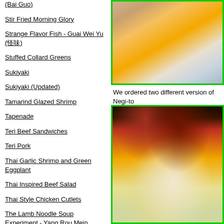(Bai Guo)
Stir Fried Morning Glory
Strange Flavor Fish - Guai Wei Yu (怪味)
Stuffed Collard Greens
Sukiyaki
Sukiyaki (Updated)
Tamarind Glazed Shrimp
Tapenade
Teri Beef Sandwiches
Teri Pork
Thai Garlic Shrimp and Green Eggplant
Thai Inspired Beef Salad
Thai Style Chicken Cutlets
The Lamb Noodle Soup Experiment - Yang Rou Mein
Three Minute Whole Egg Mayo
Three Oil Noodles
Turnip Cake
[Figure (photo): Close-up food photograph with yellow plate/surface and pinkish-beige food item on a yellow background with decorative swirl pattern, framed with green border]
We ordered two different version of Negi-to
[Figure (photo): Close-up food photograph showing shredded/grated white vegetable or noodle topping with red pepper pieces on a yellow plate, dark background, framed with green border]